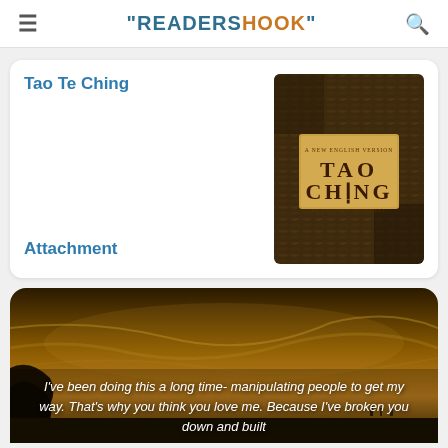"READERSHOOK"
Tao Te Ching
[Figure (photo): Book cover of Tao Te Ching - dark textured background with a golden label showing TAO CHING text]
Attachment
[Figure (photo): Dramatic sunset/golden sky landscape with quote text overlay: I've been doing this a long time- manipulating people to get my way. That's why you think you love me. Because I've broken you down and built]
I've been doing this a long time- manipulating people to get my way. That's why you think you love me. Because I've broken you down and built